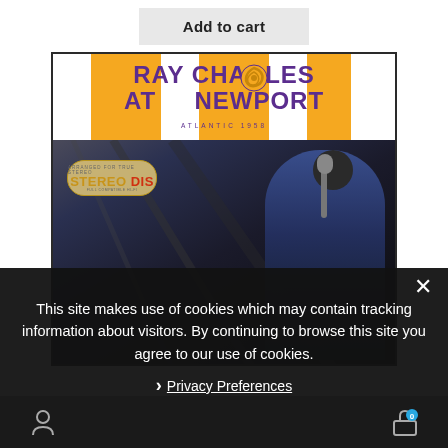Add to cart
[Figure (photo): Album cover for 'Ray Charles at Newport' on Atlantic Records. Top portion has orange and white vertical stripes with purple/blue bold text reading 'RAY CHARLES AT NEWPORT' and an Atlantic Records swirl logo. Lower portion shows a black-and-white photo of Ray Charles at a microphone, with a STEREO disc badge on the left.]
This site makes use of cookies which may contain tracking information about visitors. By continuing to browse this site you agree to our use of cookies.
Privacy Preferences
I Agree